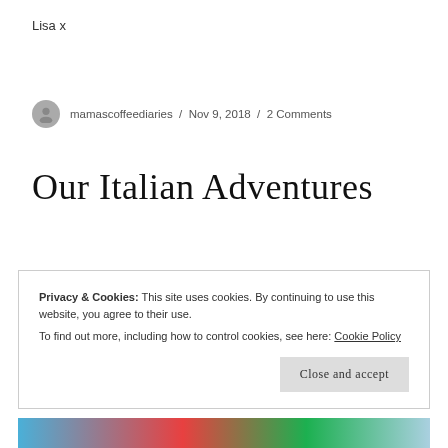Lisa x
mamascoffeediaries / Nov 9, 2018 / 2 Comments
Our Italian Adventures
Privacy & Cookies: This site uses cookies. By continuing to use this website, you agree to their use.
To find out more, including how to control cookies, see here: Cookie Policy
Close and accept